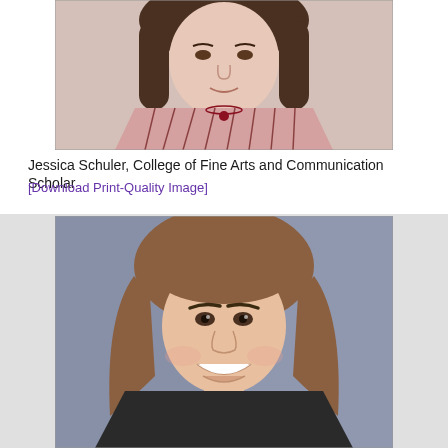[Figure (photo): Portrait photo of Jessica Schuler, a woman with brown hair wearing a pink striped top and a red necklace, shown from shoulders up against a neutral background.]
Jessica Schuler, College of Fine Arts and Communication Scholar
[Download Print-Quality Image]
[Figure (photo): Portrait photo of a young woman with medium-length brown hair, smiling, wearing a dark top, against a gray/blue background.]